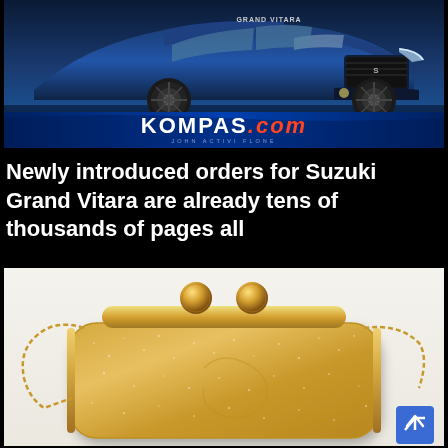[Figure (photo): Suzuki Grand Vitara SUV in blue color with KOMPAS.com logo/banner at the bottom of the advertisement image]
Newly introduced orders for Suzuki Grand Vitara are already tens of thousands of pages all
[Figure (photo): Gold sparkly clutch bag with chain strap and ball clasp closure on white background]